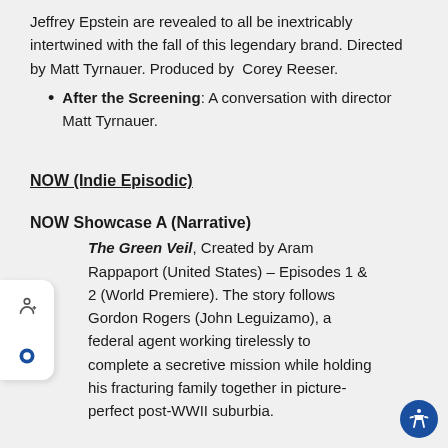Jeffrey Epstein are revealed to all be inextricably intertwined with the fall of this legendary brand. Directed by Matt Tyrnauer. Produced by Corey Reeser.
After the Screening: A conversation with director Matt Tyrnauer.
NOW (Indie Episodic)
NOW Showcase A (Narrative)
The Green Veil, Created by Aram Rappaport (United States) – Episodes 1 & 2 (World Premiere). The story follows Gordon Rogers (John Leguizamo), a federal agent working tirelessly to complete a secretive mission while holding his fracturing family together in picture-perfect post-WWII suburbia.